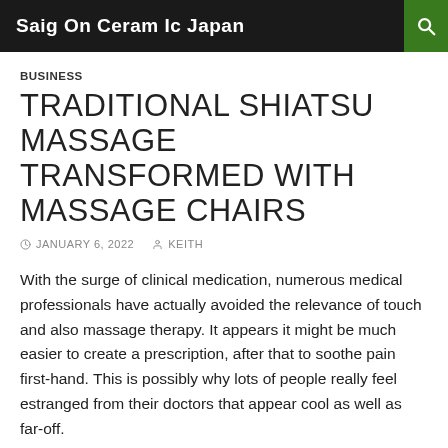Saig On Ceram Ic Japan
BUSINESS
TRADITIONAL SHIATSU MASSAGE TRANSFORMED WITH MASSAGE CHAIRS
JANUARY 6, 2022   KEITH
With the surge of clinical medication, numerous medical professionals have actually avoided the relevance of touch and also massage therapy. It appears it might be much easier to create a prescription, after that to soothe pain first-hand. This is possibly why lots of people really feel estranged from their doctors that appear cool as well as far-off.